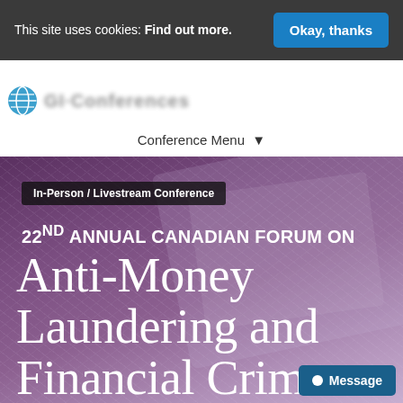This site uses cookies: Find out more. Okay, thanks
[Figure (screenshot): Partially visible website logo with globe icon and blurred organization name text]
Conference Menu ▾
In-Person / Livestream Conference
22nd Annual Canadian Forum on Anti-Money Laundering and Financial Crime
Message